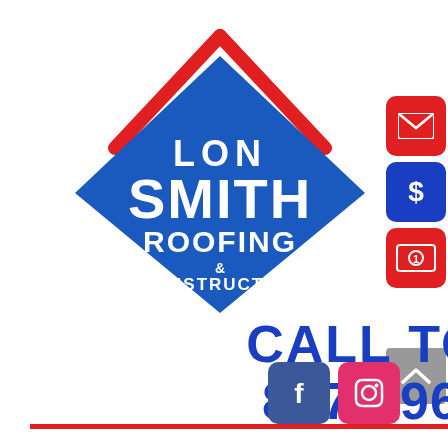[Figure (logo): Lon Smith Roofing & Construction diamond-shaped logo with blue background, red roof outline, and white text]
CALL TODAY!
877-296-4069
[Figure (other): Three side buttons: email (red), dollar sign (blue), cash/payment (red)]
[Figure (other): Facebook and Instagram social media icon buttons at bottom right]